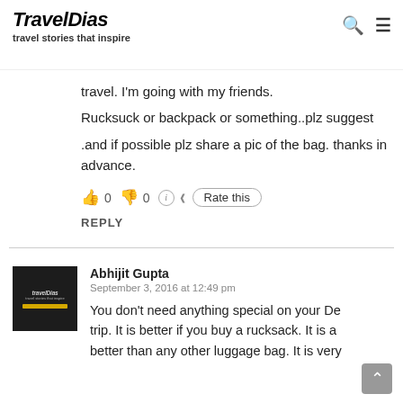TravelDias — travel stories that inspire
travel. I'm going with my friends.

Rucksuck or backpack or something..plz suggest
.and if possible plz share a pic of the bag. thanks
in advance.
👍 0 👎 0 ℹ Rate this
REPLY
Abhijit Gupta
September 3, 2016 at 12:49 pm
You don't need anything special on your De trip. It is better if you buy a rucksack. It is a better than any other luggage bag. It is very